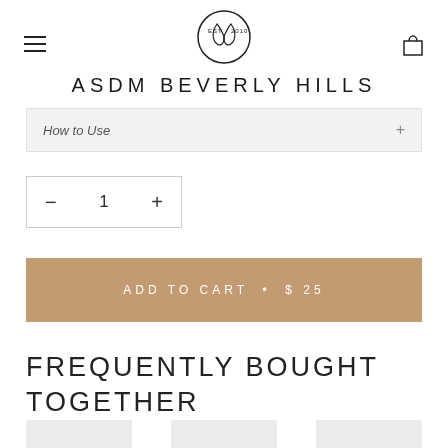ASDM BEVERLY HILLS
How to Use
− 1 +
ADD TO CART • $ 25
FREQUENTLY BOUGHT TOGETHER